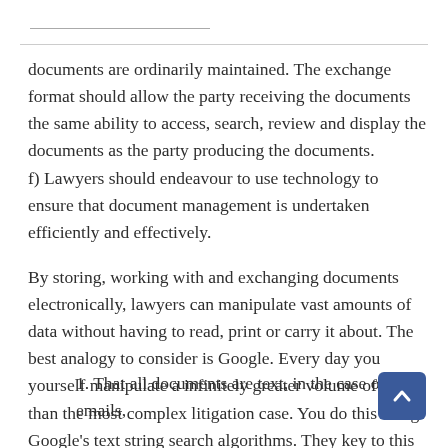documents are ordinarily maintained. The exchange format should allow the party receiving the documents the same ability to access, search, review and display the documents as the party producing the documents.
f) Lawyers should endeavour to use technology to ensure that document management is undertaken efficiently and effectively.
By storing, working with and exchanging documents electronically, lawyers can manipulate vast amounts of data without having to read, print or carry it about. The best analogy to consider is Google. Every day you yourself manipulate a infinitely greater volume of data than the most complex litigation case. You do this using Google's text string search algorithms. They key to this ability is:
1. That all documents are text, in the case of emails,